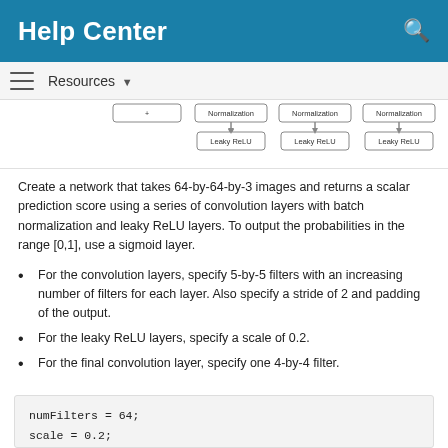Help Center
[Figure (flowchart): Partial neural network diagram showing Normalization and Leaky ReLU boxes connected with arrows]
Create a network that takes 64-by-64-by-3 images and returns a scalar prediction score using a series of convolution layers with batch normalization and leaky ReLU layers. To output the probabilities in the range [0,1], use a sigmoid layer.
For the convolution layers, specify 5-by-5 filters with an increasing number of filters for each layer. Also specify a stride of 2 and padding of the output.
For the leaky ReLU layers, specify a scale of 0.2.
For the final convolution layer, specify one 4-by-4 filter.
numFilters = 64;
scale = 0.2;

inputSize = [64 64 3];
filterSize = 5;